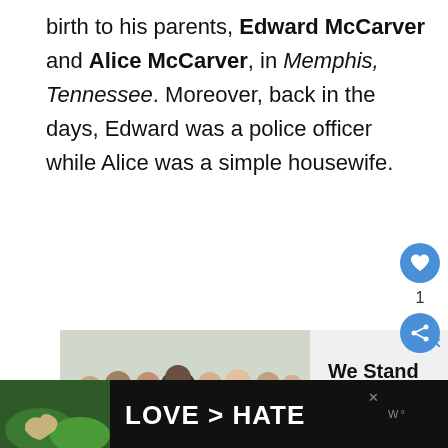birth to his parents, Edward McCarver and Alice McCarver, in Memphis, Tennessee. Moreover, back in the days, Edward was a police officer while Alice was a simple housewife.
[Figure (photo): Advertisement banner showing a group of people with arms around each other viewed from behind, with text 'We Stand Together']
[Figure (photo): Bottom advertisement banner on dark background showing hands forming a heart shape with text 'LOVE > HATE']